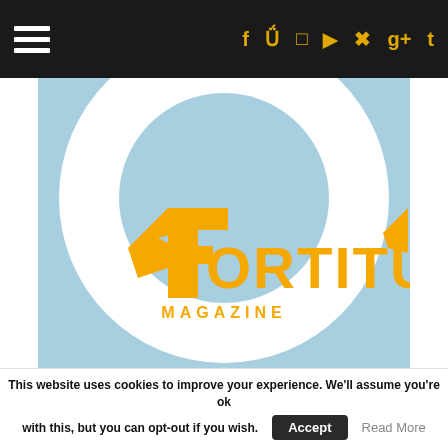Navigation bar with hamburger menu and social icons (f, twitter, instagram, youtube, pinterest, g+, t)
[Figure (logo): Fortitude Magazine logo: orange stylized 'F' with wings and the word FORTITUDE in orange block letters, MAGAZINE below, on a light blue background with a large white circle, and a blue strip at the bottom]
Author: Fortitude's Brain
A mishmash of guest articles, sponsored articles and opinion features that #TeamFortitude are unified behind.
This website uses cookies to improve your experience. We'll assume you're ok with this, but you can opt-out if you wish. Accept Read More